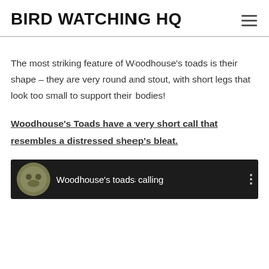BIRD WATCHING HQ
The most striking feature of Woodhouse's toads is their shape – they are very round and stout, with short legs that look too small to support their bodies!
Woodhouse's Toads have a very short call that resembles a distressed sheep's bleat.
[Figure (screenshot): Video thumbnail showing 'Woodhouse's toads calling' with a circular toad image on dark background]